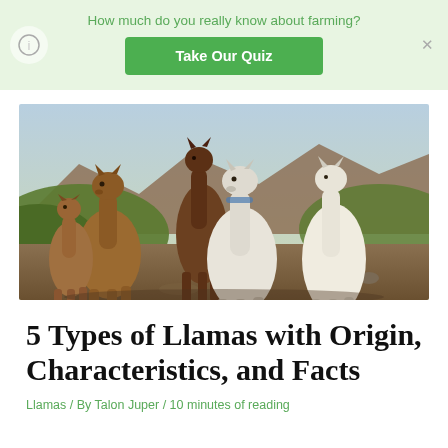How much do you really know about farming?
Take Our Quiz
[Figure (photo): A group of llamas and alpacas standing on rocky terrain with green hills and reddish mountains in the background. There are brown and white animals in the group.]
5 Types of Llamas with Origin, Characteristics, and Facts
Llamas / By Talon Juper / 10 minutes of reading